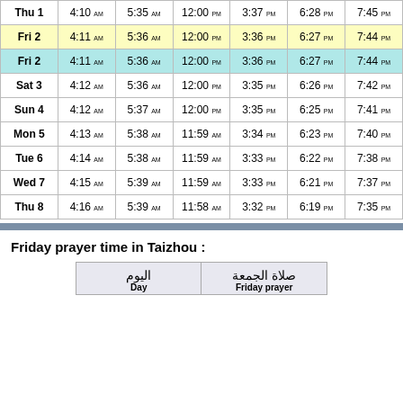| Day | Col1 | Col2 | Col3 | Col4 | Col5 | Col6 |
| --- | --- | --- | --- | --- | --- | --- |
| Thu 1 | 4:10 AM | 5:35 AM | 12:00 PM | 3:37 PM | 6:28 PM | 7:45 PM |
| Fri 2 | 4:11 AM | 5:36 AM | 12:00 PM | 3:36 PM | 6:27 PM | 7:44 PM |
| Fri 2 | 4:11 AM | 5:36 AM | 12:00 PM | 3:36 PM | 6:27 PM | 7:44 PM |
| Sat 3 | 4:12 AM | 5:36 AM | 12:00 PM | 3:35 PM | 6:26 PM | 7:42 PM |
| Sun 4 | 4:12 AM | 5:37 AM | 12:00 PM | 3:35 PM | 6:25 PM | 7:41 PM |
| Mon 5 | 4:13 AM | 5:38 AM | 11:59 AM | 3:34 PM | 6:23 PM | 7:40 PM |
| Tue 6 | 4:14 AM | 5:38 AM | 11:59 AM | 3:33 PM | 6:22 PM | 7:38 PM |
| Wed 7 | 4:15 AM | 5:39 AM | 11:59 AM | 3:33 PM | 6:21 PM | 7:37 PM |
| Thu 8 | 4:16 AM | 5:39 AM | 11:58 AM | 3:32 PM | 6:19 PM | 7:35 PM |
Friday prayer time in Taizhou :
| اليوم / Day | صلاة الجمعة / Friday prayer |
| --- | --- |